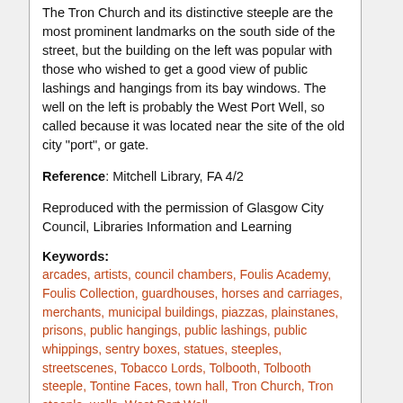The Tron Church and its distinctive steeple are the most prominent landmarks on the south side of the street, but the building on the left was popular with those who wished to get a good view of public lashings and hangings from its bay windows. The well on the left is probably the West Port Well, so called because it was located near the site of the old city "port", or gate.
Reference: Mitchell Library, FA 4/2
Reproduced with the permission of Glasgow City Council, Libraries Information and Learning
Keywords: arcades, artists, council chambers, Foulis Academy, Foulis Collection, guardhouses, horses and carriages, merchants, municipal buildings, piazzas, plainstanes, prisons, public hangings, public lashings, public whippings, sentry boxes, statues, steeples, streetscenes, Tobacco Lords, Tolbooth, Tolbooth steeple, Tontine Faces, town hall, Tron Church, Tron steeple, wells, West Port Well
Return to top